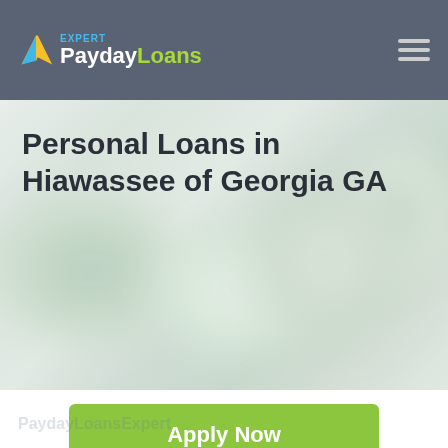PaydayLoans Expert
Personal Loans in Hiawassee of Georgia GA
[Figure (photo): Blurred outdoor/landscape background image behind the page title]
Apply Now
Applying does NOT affect your credit score!
No credit check to apply.